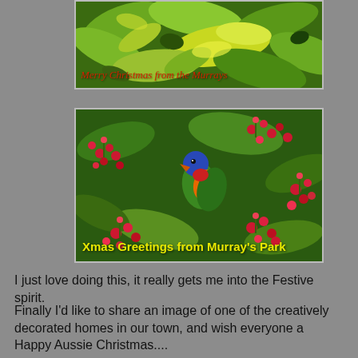[Figure (photo): Christmas greeting card with tropical green foliage and text 'Merry Christmas from the Murrays' in red italic script]
[Figure (photo): Christmas greeting card with a rainbow lorikeet bird among bright red flowering gum blossoms, text reads 'Xmas Greetings from Murray's Park' in yellow bold text]
I just love doing this, it really gets me into the Festive spirit.
Finally I'd like to share an image of one of the creatively decorated homes in our town, and wish everyone a Happy Aussie Christmas....